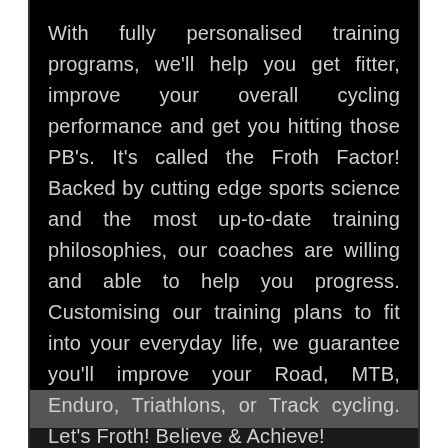With fully personalised training programs, we'll help you get fitter, improve your overall cycling performance and get you hitting those PB's. It's called the Froth Factor! Backed by cutting edge sports science and the most up-to-date training philosophies, our coaches are willing and able to help you progress. Customising our training plans to fit into your everyday life, we guarantee you'll improve your Road, MTB, Enduro, Triathlons, or Track cycling. Let's Froth! Believe & Achieve!